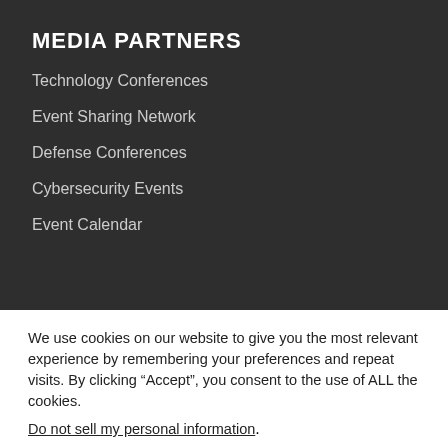MEDIA PARTNERS
Technology Conferences
Event Sharing Network
Defense Conferences
Cybersecurity Events
Event Calendar
We use cookies on our website to give you the most relevant experience by remembering your preferences and repeat visits. By clicking “Accept”, you consent to the use of ALL the cookies. Do not sell my personal information.